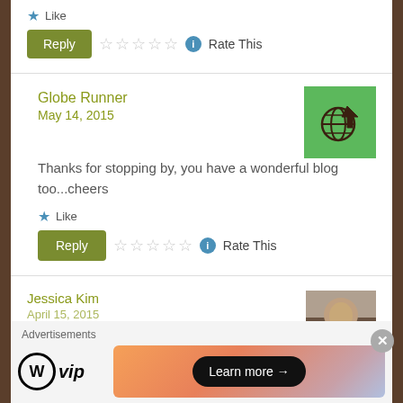★ Like
Reply  ☆☆☆☆☆ ℹ Rate This
Globe Runner
May 14, 2015
[Figure (logo): Green square avatar with a globe and arrow/cursor icon in dark brown]
Thanks for stopping by, you have a wonderful blog too...cheers
★ Like
Reply  ☆☆☆☆☆ ℹ Rate This
Jessica Kim
April 15, 2015
[Figure (photo): Small thumbnail photo of Jessica Kim]
Advertisements
[Figure (logo): WordPress VIP logo on left, colorful gradient ad banner with 'Learn more →' button on right]